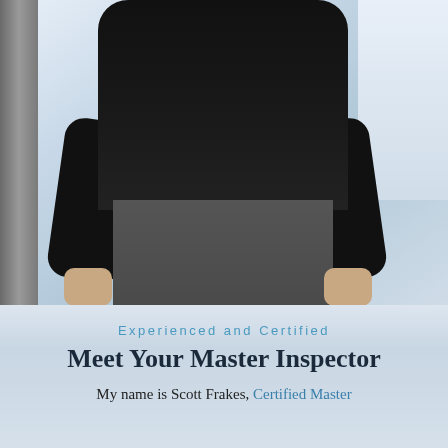[Figure (photo): A person standing outdoors in a dark sweatshirt and grey pants, photographed from the neck down in a snowy outdoor setting with a pillar visible on the left side.]
Experienced and Certified
Meet Your Master Inspector
My name is Scott Frakes, Certified Master Inspector, member of North Dakot...